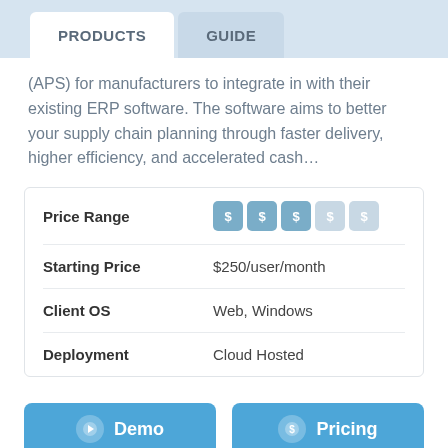PRODUCTS  GUIDE
(APS) for manufacturers to integrate in with their existing ERP software. The software aims to better your supply chain planning through faster delivery, higher efficiency, and accelerated cash…
|  |  |
| --- | --- |
| Price Range | $$$$$ |
| Starting Price | $250/user/month |
| Client OS | Web, Windows |
| Deployment | Cloud Hosted |
Demo  Pricing
E-Z-MRP ★★★★★ (4)